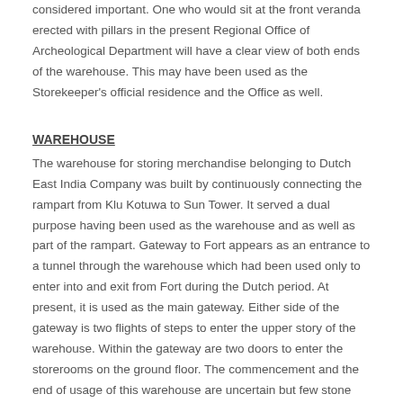considered important. One who would sit at the front veranda erected with pillars in the present Regional Office of Archeological Department will have a clear view of both ends of the warehouse. This may have been used as the Storekeeper's official residence and the Office as well.
WAREHOUSE
The warehouse for storing merchandise belonging to Dutch East India Company was built by continuously connecting the rampart from Klu Kotuwa to Sun Tower. It served a dual purpose having been used as the warehouse and as well as part of the rampart. Gateway to Fort appears as an entrance to a tunnel through the warehouse which had been used only to enter into and exit from Fort during the Dutch period. At present, it is used as the main gateway. Either side of the gateway is two flights of steps to enter the upper story of the warehouse. Within the gateway are two doors to enter the storerooms on the ground floor. The commencement and the end of usage of this warehouse are uncertain but few stone slabs carved with years 1671,1672 and 1676 are seen fitted at several places therein. The store at the left side of the building was used to keep sawn timber, cowrie shells and food items while the other side was